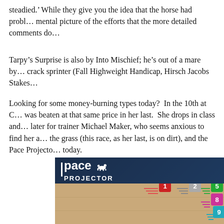steadied.’ While they give you the idea that the horse had problems, they don’t paint the same mental picture of the efforts that the more detailed comments do.
Tarpy’s Surprise is also by Into Mischief; he’s out of a mare by Speightstown, who was a crack sprinter (Fall Highweight Handicap, Hirsch Jacobs Stakes).
Looking for some money-burning types today? In the 10th at C…, was beaten at that same price in her last. She drops in class and later for trainer Michael Maker, who seems anxious to find her a spot on the grass (this race, as her last, is on dirt), and the Pace Projector… today.
[Figure (infographic): Pace Projector graphic showing a dark blue header with 'Pace PROJECTOR' logo and horse icon, followed by a tan/beige race track with numbered horse position badges: 1 (red), 2 (light gray), 5 (green) in the first row; 8 (pink/magenta) in the second row; 9 (cyan/teal) in the third row, each with speed lines behind them.]